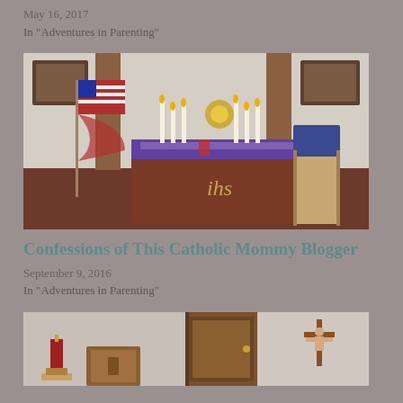May 16, 2017
In "Adventures in Parenting"
[Figure (photo): Church altar with IHS monogram on the front, candles, flowers, American flag on the left, and a wooden chair on the right. Stained glass windows visible in the upper corners.]
Confessions of This Catholic Mommy Blogger
September 9, 2016
In "Adventures in Parenting"
[Figure (photo): Interior of a church or chapel showing a red candle on a stand, a wooden tabernacle, a door, and a crucifix on the wall.]